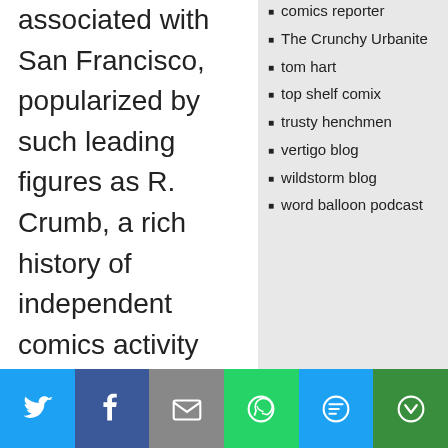associated with San Francisco, popularized by such leading figures as R. Crumb, a rich history of independent comics activity can be found in the midwest, specifically Wisconsin. Today, that hub of comics energy continues to percolate, led by such notable
comics reporter
The Crunchy Urbanite
tom hart
top shelf comix
trusty henchmen
vertigo blog
wildstorm blog
word balloon podcast